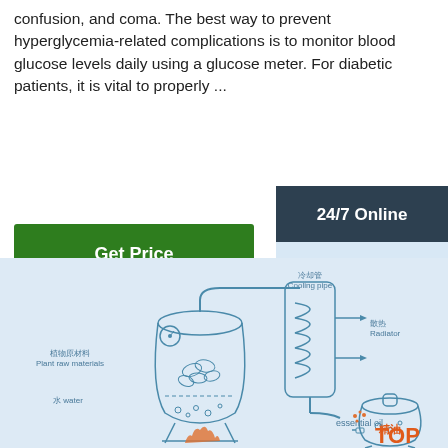confusion, and coma. The best way to prevent hyperglycemia-related complications is to monitor blood glucose levels daily using a glucose meter. For diabetic patients, it is vital to properly ...
Get Price
24/7 Online
[Figure (photo): Customer service representative woman with headset smiling]
Click here for free chat!
QUOTATION
[Figure (schematic): Distillation/extraction process diagram with labels in Chinese and English: 冷却管 Cooling pipe, 散热 Radiator, 植物原材料 Plant raw materials, 水 water, 精油 essential oil, TOP]